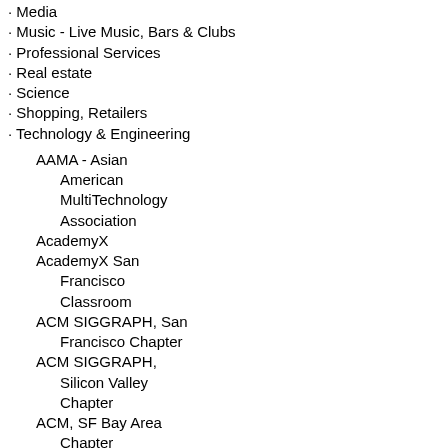· Media
· Music - Live Music, Bars & Clubs
· Professional Services
· Real estate
· Science
· Shopping, Retailers
· Technology & Engineering
AAMA - Asian American MultiTechnology Association
AcademyX
AcademyX San Francisco Classroom
ACM SIGGRAPH, San Francisco Chapter
ACM SIGGRAPH, Silicon Valley Chapter
ACM, SF Bay Area Chapter
American Society of Mechanical Engineers (ASME) Santa Clara Valley Section
Anita Borg Institute for Women and Technology
ANZA Technology Network